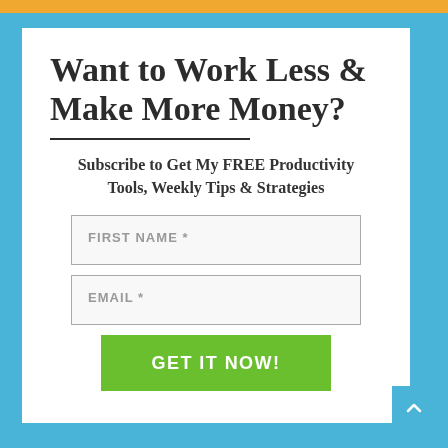Want to Work Less & Make More Money?
Subscribe to Get My FREE Productivity Tools, Weekly Tips & Strategies
FIRST NAME *
EMAIL *
GET IT NOW!